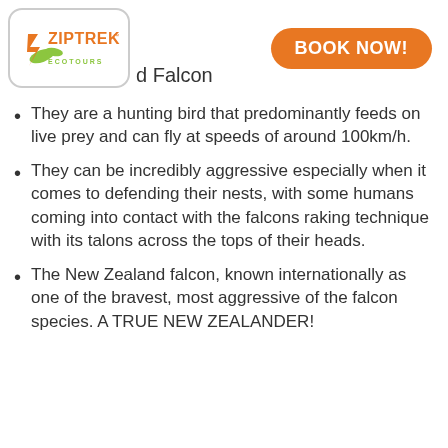[Figure (logo): Ziptrek Ecotours logo in a rounded rectangle box]
BOOK NOW!
d Falcon
They are a hunting bird that predominantly feeds on live prey and can fly at speeds of around 100km/h.
They can be incredibly aggressive especially when it comes to defending their nests, with some humans coming into contact with the falcons raking technique with its talons across the tops of their heads.
The New Zealand falcon, known internationally as one of the bravest, most aggressive of the falcon species. A TRUE NEW ZEALANDER!